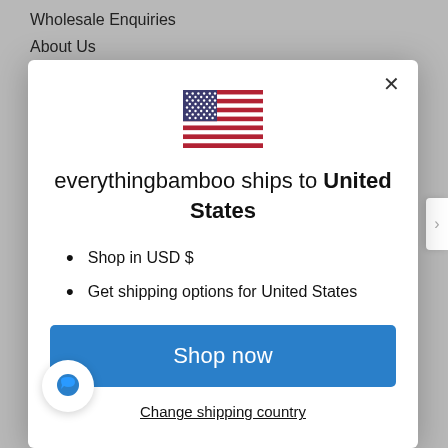Wholesale Enquiries
About Us
[Figure (illustration): US flag emoji / icon displayed in the modal dialog]
everythingbamboo ships to United States
Shop in USD $
Get shipping options for United States
Shop now
Change shipping country
Coopers Plains, Brisbane, Qld, 4108, Australia